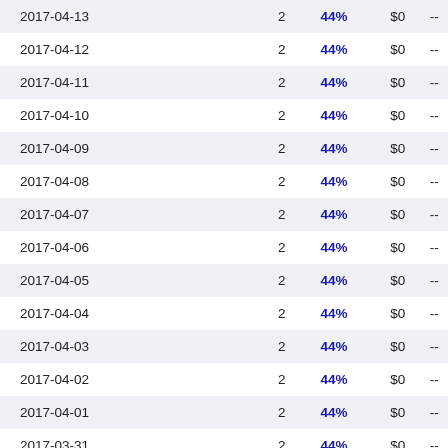| Date |  | % | $ |  |
| --- | --- | --- | --- | --- |
| 2017-04-13 | 2 | 44% | $0 | -- |
| 2017-04-12 | 2 | 44% | $0 | -- |
| 2017-04-11 | 2 | 44% | $0 | -- |
| 2017-04-10 | 2 | 44% | $0 | -- |
| 2017-04-09 | 2 | 44% | $0 | -- |
| 2017-04-08 | 2 | 44% | $0 | -- |
| 2017-04-07 | 2 | 44% | $0 | -- |
| 2017-04-06 | 2 | 44% | $0 | -- |
| 2017-04-05 | 2 | 44% | $0 | -- |
| 2017-04-04 | 2 | 44% | $0 | -- |
| 2017-04-03 | 2 | 44% | $0 | -- |
| 2017-04-02 | 2 | 44% | $0 | -- |
| 2017-04-01 | 2 | 44% | $0 | -- |
| 2017-03-31 | 2 | 44% | $0 | -- |
| 2017-03-30 | 2 | 44% | $0 | -- |
| 2017-03-29 | 2 | 44% | $0 | -- |